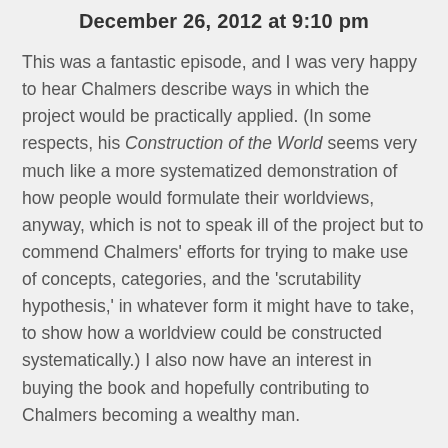December 26, 2012 at 9:10 pm
This was a fantastic episode, and I was very happy to hear Chalmers describe ways in which the project would be practically applied. (In some respects, his Construction of the World seems very much like a more systematized demonstration of how people would formulate their worldviews, anyway, which is not to speak ill of the project but to commend Chalmers' efforts for trying to make use of concepts, categories, and the 'scrutability hypothesis,' in whatever form it might have to take, to show how a worldview could be constructed systematically.) I also now have an interest in buying the book and hopefully contributing to Chalmers becoming a wealthy man.